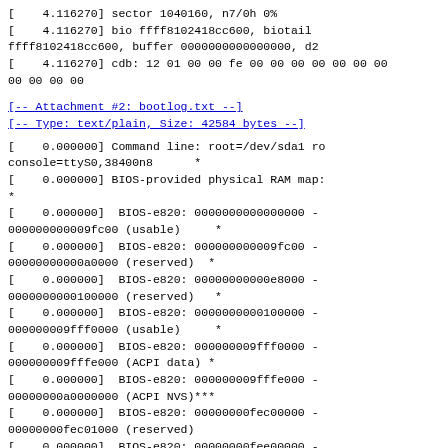[    4.116270] sector 1040160, n7/0h 0%
[    4.116270] bio ffff8102418cc600, biotail ffff8102418cc600, buffer 0000000000000000, d2
[    4.116270] cdb: 12 01 00 00 fe 00 00 00 00 00 00 00 00 00 00 00
[-- Attachment #2: bootlog.txt --]
[-- Type: text/plain, Size: 42584 bytes --]
[    0.000000] Command line: root=/dev/sda1 ro console=ttyS0,38400n8      *
[    0.000000] BIOS-provided physical RAM map:
*
[    0.000000]  BIOS-e820: 0000000000000000 - 000000000009fc00 (usable)     *
[    0.000000]  BIOS-e820: 000000000009fc00 - 00000000000a0000 (reserved)  *
[    0.000000]  BIOS-e820: 00000000000e8000 - 0000000000100000 (reserved)   *
[    0.000000]  BIOS-e820: 0000000000100000 - 000000009fff0000 (usable)     *
[    0.000000]  BIOS-e820: 000000009fff0000 - 000000009fffe000 (ACPI data) *
[    0.000000]  BIOS-e820: 000000009fffe000 - 00000000a0000000 (ACPI NVS)***
[    0.000000]  BIOS-e820: 00000000fec00000 - 00000000fec01000 (reserved)
[    0.000000]  BIOS-e820: 00000000fee00000 - 00000000fee01000 (reserved)
[    0.000000]  BIOS-e820: 00000000ff700000